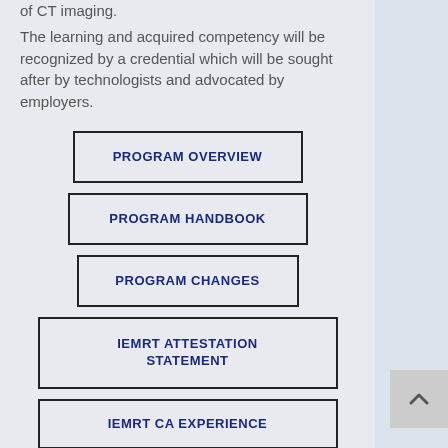of CT imaging.
The learning and acquired competency will be recognized by a credential which will be sought after by technologists and advocated by employers.
PROGRAM OVERVIEW
PROGRAM HANDBOOK
PROGRAM CHANGES
IEMRT ATTESTATION STATEMENT
IEMRT CA EXPERIENCE